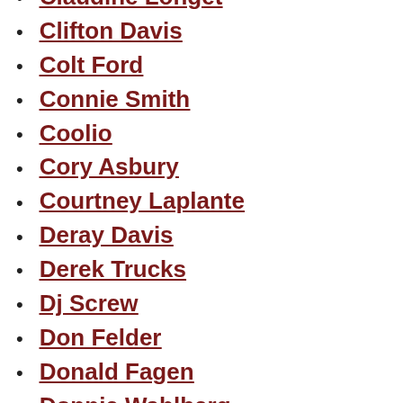Claudine Longet
Clifton Davis
Colt Ford
Connie Smith
Coolio
Cory Asbury
Courtney Laplante
Deray Davis
Derek Trucks
Dj Screw
Don Felder
Donald Fagen
Donnie Wahlberg
Easton Corbin
Ed Ames
Elliana Walmsley